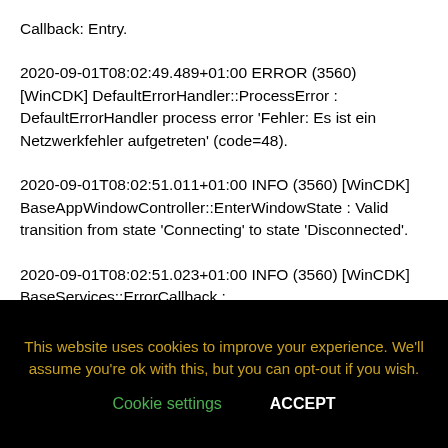Callback: Entry.
2020-09-01T08:02:49.489+01:00 ERROR (3560) [WinCDK] DefaultErrorHandler::ProcessError : DefaultErrorHandler process error 'Fehler: Es ist ein Netzwerkfehler aufgetreten' (code=48).
2020-09-01T08:02:51.011+01:00 INFO (3560) [WinCDK] BaseAppWindowController::EnterWindowState : Valid transition from state 'Connecting' to state 'Disconnected'.
2020-09-01T08:02:51.023+01:00 INFO (3560) [WinCDK] BaseServices::ErrorCallback : Error(Taskname:CdkSetLocaleTask, domain:52, code:48)
This website uses cookies to improve your experience. We'll assume you're ok with this, but you can opt-out if you wish.
Cookie settings  ACCEPT